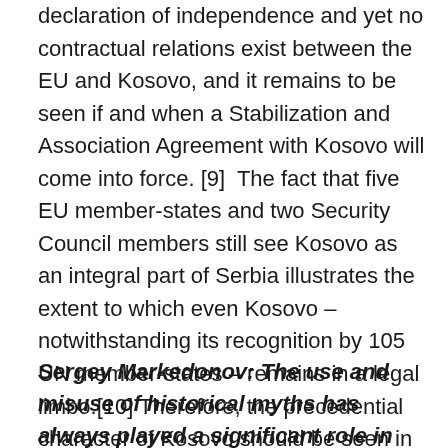declaration of independence and yet no contractual relations exist between the EU and Kosovo, and it remains to be seen if and when a Stabilization and Association Agreement with Kosovo will come into force. [9]  The fact that five EU member-states and two Security Council members still see Kosovo as an integral part of Serbia illustrates the extent to which even Kosovo – notwithstanding its recognition by 105 UN member-states – remains in a legal limbo.[10] Therefore, the precedential character of Kosovo should be seen in the lack of legal guidelines for its recognition and the corresponding persistence of the authorities of de facto states to go for nothing less than independence.
Sergey Markedonov: The use and misuse of historical myths has always played a significant role in ethnic